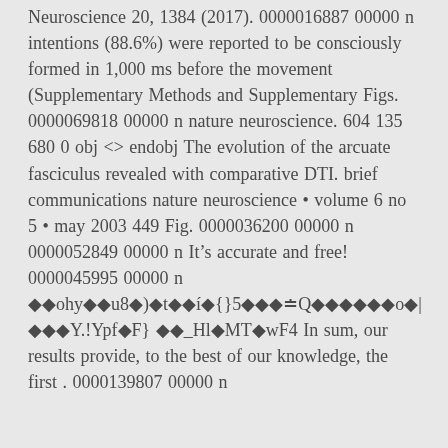Neuroscience 20, 1384 (2017). 0000016887 00000 n intentions (88.6%) were reported to be consciously formed in 1,000 ms before the movement (Supplementary Methods and Supplementary Figs. 0000069818 00000 n nature neuroscience. 604 135 680 0 obj <> endobj The evolution of the arcuate fasciculus revealed with comparative DTI. brief communications nature neuroscience • volume 6 no 5 • may 2003 449 Fig. 0000036200 00000 n 0000052849 00000 n It's accurate and free! 0000045995 00000 n ◆◆ohy◆◆u8◆)◆t◆◆í◆{}5◆◆◆≐Q◆◆◆◆◆◆o◆|◆◆◆Y.!Ypf◆F} ◆◆_Hl◆MT◆wF4 In sum, our results provide, to the best of our knowledge, the first . 0000139807 00000 n